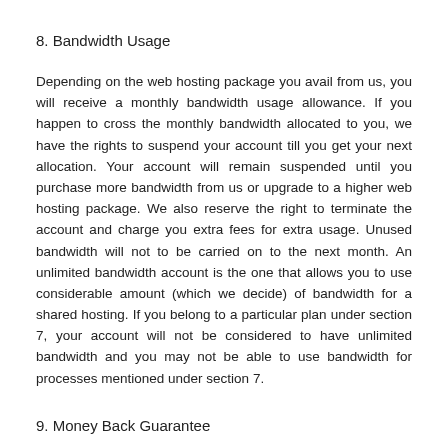8. Bandwidth Usage
Depending on the web hosting package you avail from us, you will receive a monthly bandwidth usage allowance. If you happen to cross the monthly bandwidth allocated to you, we have the rights to suspend your account till you get your next allocation. Your account will remain suspended until you purchase more bandwidth from us or upgrade to a higher web hosting package. We also reserve the right to terminate the account and charge you extra fees for extra usage. Unused bandwidth will not to be carried on to the next month. An unlimited bandwidth account is the one that allows you to use considerable amount (which we decide) of bandwidth for a shared hosting. If you belong to a particular plan under section 7, your account will not be considered to have unlimited bandwidth and you may not be able to use bandwidth for processes mentioned under section 7.
9. Money Back Guarantee